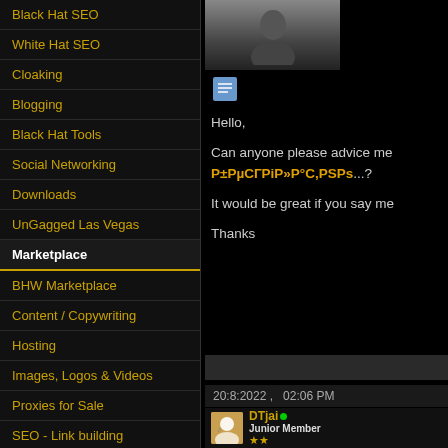Black Hat SEO
White Hat SEO
Cloaking
Blogging
Black Hat Tools
Social Networking
Downloads
UnGagged Las Vegas
Marketplace
BHW Marketplace
Content / Copywriting
Hosting
Images, Logos & Videos
Proxies for Sale
SEO - Link building
SEO - Packages
Social Media
Hello,

Can anyone please advice me... [Р±РµСГРiР»Р°С,РSРs]...?

It would be great if you say me...

Thanks
20:8:2022 ,   02:06 PM
DTjai
Junior Member